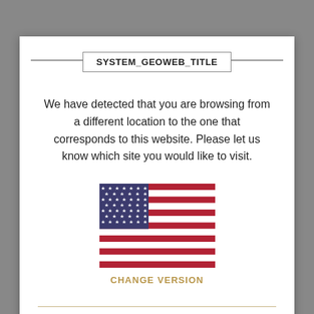SYSTEM_GEOWEB_TITLE
We have detected that you are browsing from a different location to the one that corresponds to this website. Please let us know which site you would like to visit.
[Figure (illustration): US flag icon]
CHANGE VERSION
[Figure (illustration): Partial New Zealand flag icon at bottom of page]